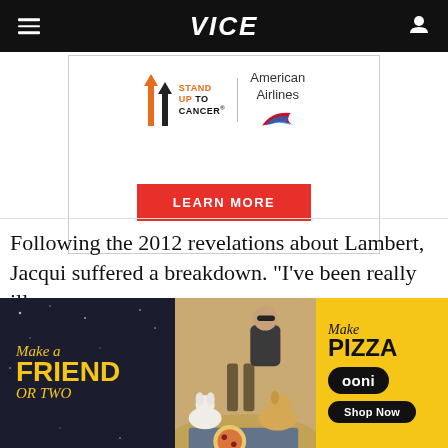VICE
[Figure (advertisement): Stand Up To Cancer and American Airlines co-branded advertisement with a red 'LEARN MORE' button]
Following the 2012 revelations about Lambert, Jacqui suffered a breakdown. "I've been really ill
[Figure (advertisement): Ooni pizza oven advertisement: 'Make a Friend or Two' / 'Make Pizza' with dogs and picnic scene]